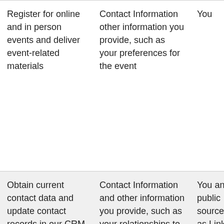| Purpose | Data Types | Source | Legal Basis (clipped) |
| --- | --- | --- | --- |
| Register for online and in person events and deliver event-related materials | Contact Information other information you provide, such as your preferences for the event | You | in er at ou to ev Co m de th pa ev |
| Obtain current contact data and update contact records in our CRM | Contact Information and other information you provide, such as your relationships to people at IDEAL | You and public sources, such as LinkedIn | Le in er in cu ot da |